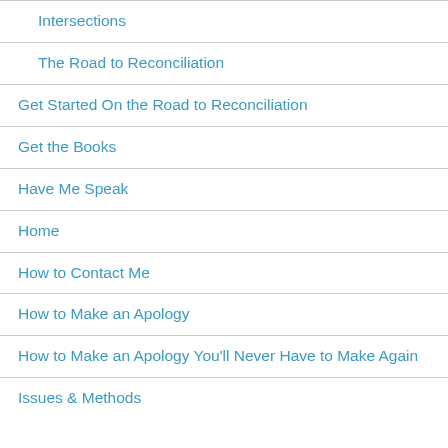Intersections
The Road to Reconciliation
Get Started On the Road to Reconciliation
Get the Books
Have Me Speak
Home
How to Contact Me
How to Make an Apology
How to Make an Apology You'll Never Have to Make Again
Issues & Methods